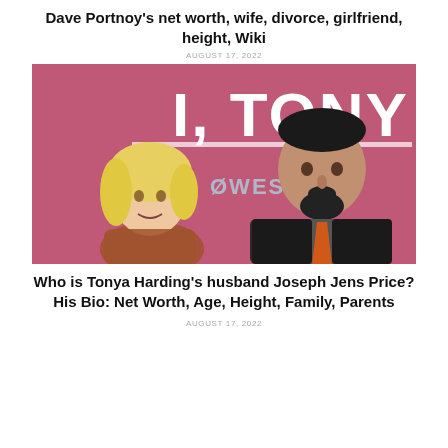Dave Portnoy's net worth, wife, divorce, girlfriend, height, Wiki
AUGUST 17, 2022
[Figure (photo): Tonya Harding and Joseph Jens Price posing together in front of a pink 'I, TONY' backdrop at an event. Woman with blonde hair on left, man in dark suit with orange tie on right.]
Who is Tonya Harding's husband Joseph Jens Price? His Bio: Net Worth, Age, Height, Family, Parents
AUGUST 17, 2022